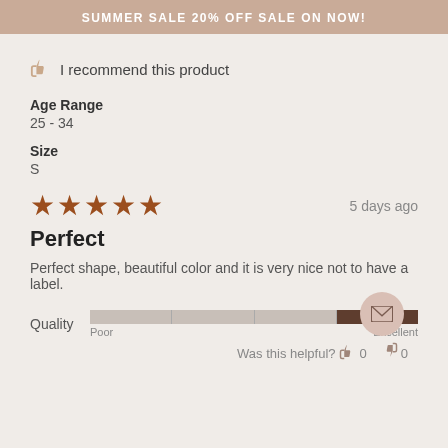SUMMER SALE 20% OFF SALE ON NOW!
I recommend this product
Age Range
25 - 34
Size
S
[Figure (other): 5 star rating with '5 days ago' timestamp]
Perfect
Perfect shape, beautiful color and it is very nice not to have a label.
[Figure (other): Quality rating bar from Poor to Excellent, filled to Excellent end]
Was this helpful? 0 0